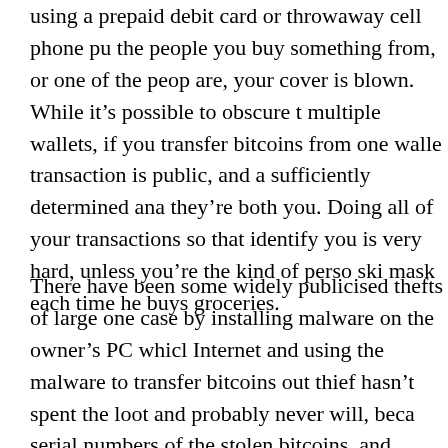using a prepaid debit card or throwaway cell phone pu the people you buy something from, or one of the peop are, your cover is blown. While it's possible to obscure t multiple wallets, if you transfer bitcoins from one walle transaction is public, and a sufficiently determined ana they're both you. Doing all of your transactions so that identify you is very hard, unless you're the kind of pers ski mask each time he buys groceries.
There have been some widely publicised thefts of large one case by installing malware on the owner's PC whic Internet and using the malware to transfer bitcoins out thief hasn't spent the loot and probably never will, beca serial numbers of the stolen bitcoins, and nobody will a This is sort of like unsalable stolen famous paintings, e analogy to the rich collector who'll buy the art and neve